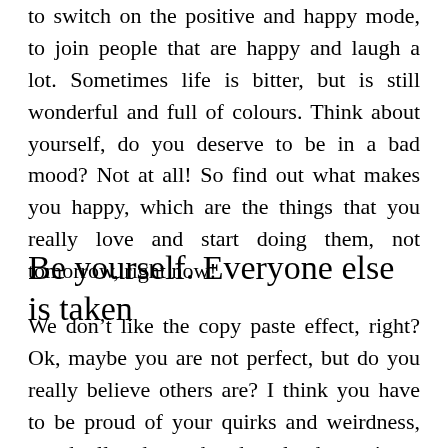to switch on the positive and happy mode, to join people that are happy and laugh a lot. Sometimes life is bitter, but is still wonderful and full of colours. Think about yourself, do you deserve to be in a bad mood? Not at all! So find out what makes you happy, which are the things that you really love and start doing them, not tomorrow, right now!
Be yourself. Everyone else is taken
We don't like the copy paste effect, right? Ok, maybe you are not perfect, but do you really believe others are? I think you have to be proud of your quirks and weirdness, stand tall and proud and applaud your inner awesomeness. You are unique and this is amazing! So yes, find inspirations on